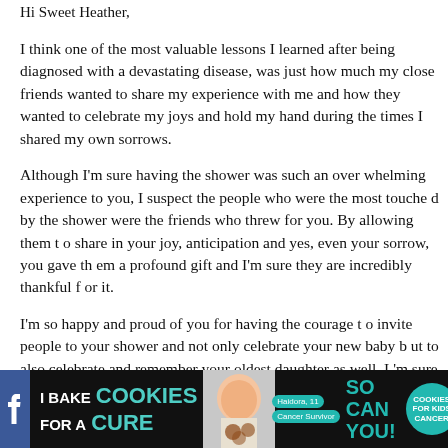Hi Sweet Heather,
I think one of the most valuable lessons I learned after being diagnosed with a devastating disease, was just how much my close friends wanted to share my experience with me and how they wanted to celebrate my joys and hold my hand during the times I shared my own sorrows.
Although I'm sure having the shower was such an overwhelming experience to you, I suspect the people who were the most touched by the shower were the friends who threw for you. By allowing them to share in your joy, anticipation and yes, even your sorrow, you gave them a most profound gift and I'm sure they are incredibly thankful for it.
I'm so happy and proud of you for having the courage to invite people to your shower and not only celebrate your new baby but to also celebrate and remember your oldest daughter as well. I'm sure you felt completely overwhelmed but I'm so glad you went and have no regrets in doing so!
I hope you absorbed the many Blessings that day held for you and Mike. You both deserve every bit of joy and happiness!
[Figure (infographic): Advertisement banner for 'I Bake Cookies For A Cure' featuring a girl holding cookies, teal/cyan text, cookies for kids cancer logo, and social media icons with close buttons]